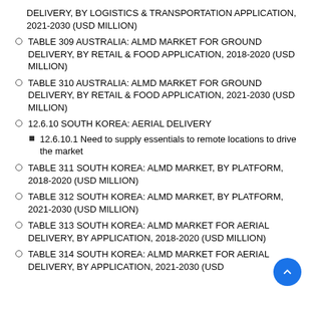DELIVERY, BY LOGISTICS & TRANSPORTATION APPLICATION, 2021-2030 (USD MILLION)
TABLE 309 AUSTRALIA: ALMD MARKET FOR GROUND DELIVERY, BY RETAIL & FOOD APPLICATION, 2018-2020 (USD MILLION)
TABLE 310 AUSTRALIA: ALMD MARKET FOR GROUND DELIVERY, BY RETAIL & FOOD APPLICATION, 2021-2030 (USD MILLION)
12.6.10 SOUTH KOREA: AERIAL DELIVERY
12.6.10.1 Need to supply essentials to remote locations to drive the market
TABLE 311 SOUTH KOREA: ALMD MARKET, BY PLATFORM, 2018-2020 (USD MILLION)
TABLE 312 SOUTH KOREA: ALMD MARKET, BY PLATFORM, 2021-2030 (USD MILLION)
TABLE 313 SOUTH KOREA: ALMD MARKET FOR AERIAL DELIVERY, BY APPLICATION, 2018-2020 (USD MILLION)
TABLE 314 SOUTH KOREA: ALMD MARKET FOR AERIAL DELIVERY, BY APPLICATION, 2021-2030 (USD